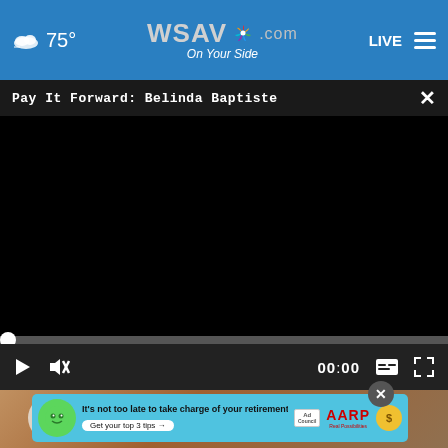WSAV.com On Your Side — 75° — LIVE
Pay It Forward: Belinda Baptiste
[Figure (screenshot): Black video player area with progress bar at 0:00 and controls (play, mute, time 00:00, captions, fullscreen)]
[Figure (photo): Thumbnail of food/plate on wooden surface background]
[Figure (other): AARP advertisement banner: 'It's not too late to take charge of your retirement. Get your top 3 tips' with Ad Council and AARP logos and a green mascot character]